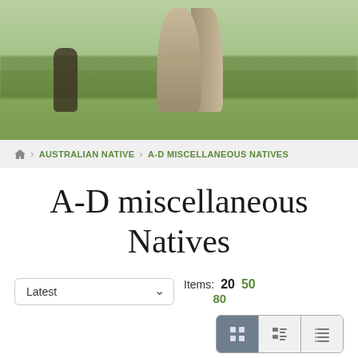[Figure (photo): Outdoor landscape photo showing a large termite mound in a grassy field with trees in background and dark figures near the mound]
Home > AUSTRALIAN NATIVE > A-D MISCELLANEOUS NATIVES
A-D miscellaneous Natives
Latest  Items: 20  50  80
Sort icon (ascending list)